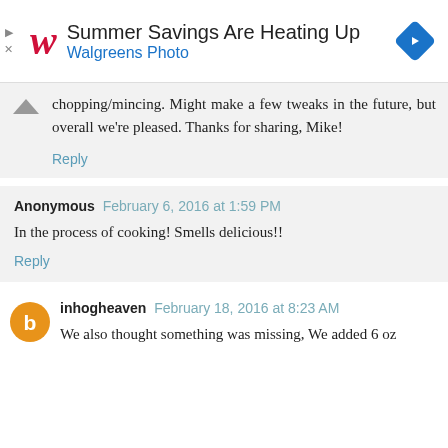[Figure (other): Walgreens advertisement banner: logo, 'Summer Savings Are Heating Up', 'Walgreens Photo', navigation arrow icon]
chopping/mincing. Might make a few tweaks in the future, but overall we're pleased. Thanks for sharing, Mike!
Reply
Anonymous  February 6, 2016 at 1:59 PM
In the process of cooking! Smells delicious!!
Reply
inhogheaven  February 18, 2016 at 8:23 AM
We also thought something was missing, We added 6 oz